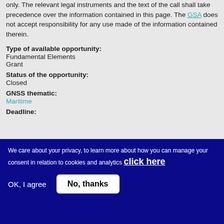only. The relevant legal instruments and the text of the call shall take precedence over the information contained in this page. The GSA does not accept responsibility for any use made of the information contained therein.
Type of available opportunity:
Fundamental Elements
Grant
Status of the opportunity:
Closed
GNSS thematic:
Maritime
Deadline:
We care about your privacy, to learn more about how you can manage your consent in relation to cookies and analytics click here
OK, I agree
No, thanks